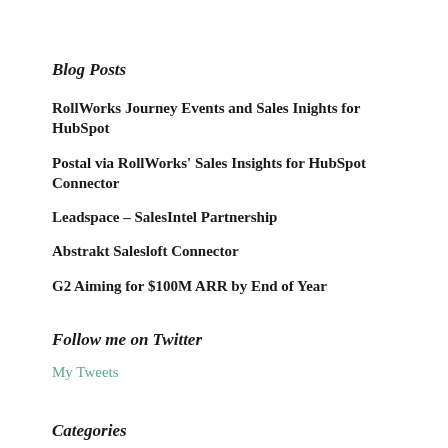Blog Posts
RollWorks Journey Events and Sales Inights for HubSpot
Postal via RollWorks' Sales Insights for HubSpot Connector
Leadspace – SalesIntel Partnership
Abstrakt Salesloft Connector
G2 Aiming for $100M ARR by End of Year
Follow me on Twitter
My Tweets
Categories